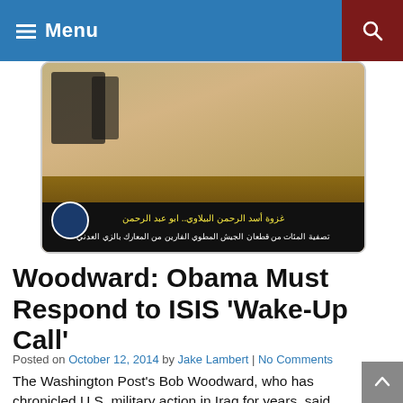Menu
[Figure (photo): Disturbing conflict-related image with Arabic text overlay at the bottom on a dark banner]
Woodward: Obama Must Respond to ISIS ‘Wake-Up Call’
Posted on October 12, 2014 by Jake Lambert | No Comments
The Washington Post’s Bob Woodward, who has chronicled U.S. military action in Iraq for years, said today that America and the world are in “a mess” in the fight against the Islamic State, the brutal terrorist group also called ISIS or ISIL. President